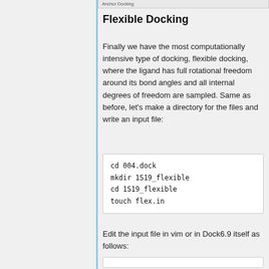Anchor Docking
Flexible Docking
Finally we have the most computationally intensive type of docking, flexible docking, where the ligand has full rotational freedom around its bond angles and all internal degrees of freedom are sampled. Same as before, let's make a directory for the files and write an input file:
cd 004.dock
mkdir 1S19_flexible
cd 1S19_flexible
touch flex.in
Edit the input file in vim or in Dock6.9 itself as follows: